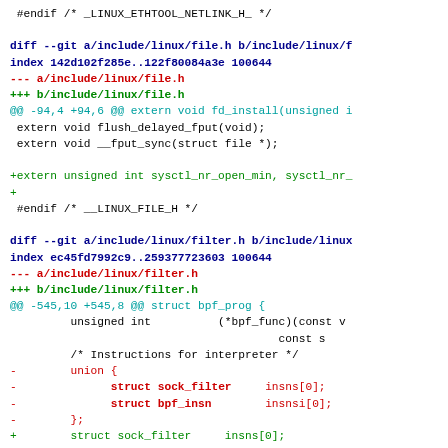#endif /* _LINUX_ETHTOOL_NETLINK_H_ */

diff --git a/include/linux/file.h b/include/linux/f
index 142d102f285e..122f80084a3e 100644
--- a/include/linux/file.h
+++ b/include/linux/file.h
@@ -94,4 +94,6 @@ extern void fd_install(unsigned i
 extern void flush_delayed_fput(void);
 extern void __fput_sync(struct file *);

+extern unsigned int sysctl_nr_open_min, sysctl_nr_
+
 #endif /* __LINUX_FILE_H */

diff --git a/include/linux/filter.h b/include/linux
index ec45fd7992c9..259377723603 100644
--- a/include/linux/filter.h
+++ b/include/linux/filter.h
@@ -545,10 +545,8 @@ struct bpf_prog {
         unsigned int          (*bpf_func)(const v
                                        const s
         /* Instructions for interpreter */
-        union {
-              struct sock_filter     insns[0];
-              struct bpf_insn        insnsi[0];
-        };
+        struct sock_filter     insns[0];